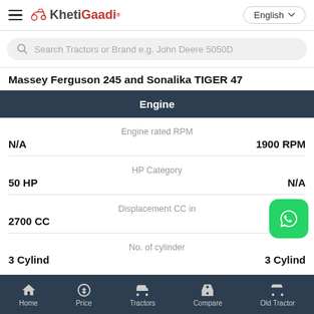KhetiGaadi — English
Search Tractors or Brand e.g. John Deere 5050D
Massey Ferguson 245 and Sonalika TIGER 47
Engine
Engine rated RPM
N/A   1900 RPM
HP Category
50 HP   N/A
Displacement CC in
2700 CC
No. of cylinder
Home  Price  Tractors  Compare  Old Tractor